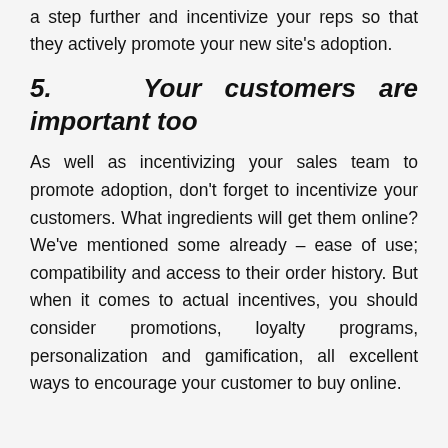a step further and incentivize your reps so that they actively promote your new site's adoption.
5.  Your customers are important too
As well as incentivizing your sales team to promote adoption, don't forget to incentivize your customers. What ingredients will get them online? We've mentioned some already – ease of use; compatibility and access to their order history. But when it comes to actual incentives, you should consider promotions, loyalty programs, personalization and gamification, all excellent ways to encourage your customer to buy online.